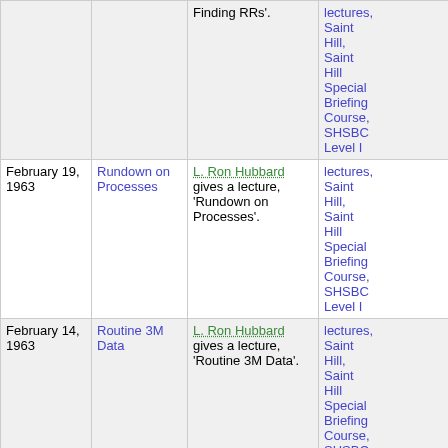| Date | Title | Description | Series |
| --- | --- | --- | --- |
|  |  | Finding RRs'. | lectures, Saint Hill, Saint Hill Special Briefing Course, SHSBC Level I |
| February 19, 1963 | Rundown on Processes | L. Ron Hubbard gives a lecture, 'Rundown on Processes'. | lectures, Saint Hill, Saint Hill Special Briefing Course, SHSBC Level I |
| February 14, 1963 | Routine 3M Data | L. Ron Hubbard gives a lecture, 'Routine 3M Data'. | lectures, Saint Hill, Saint Hill Special Briefing Course, SHSBC Level I |
| February 13, 1963 | Discussion of TV Demo Sessions | L. Ron Hubbard gives a lecture, 'Discussion of TV Demo Sessions'. | lectures, Saint Hill, Saint Hill Special Briefing Course, SHSBC Level I |
|  | TV Demo: | L. Ron Hubbard gives a | lectures, Saint Hill |